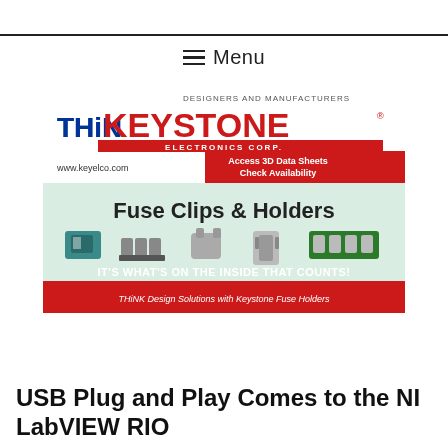≡  Menu
[Figure (advertisement): ThinkKeystone Electronics Corp advertisement for Fuse Clips & Holders. Shows logo 'THiNKEYSTONE ELECTRONICS CORP', tagline 'DESIGNERS AND MANUFACTURERS', website www.keyelco.com, call to action 'Access 3D Data Sheets Check Availability', product images of various fuse clips and holders on green background, text 'IT'S WHAT'S ON THE INSIDE THAT COUNTS!' and 'THiNK Design Solutions with Keystone Fuse Holders']
USB Plug and Play Comes to the NI LabVIEW RIO